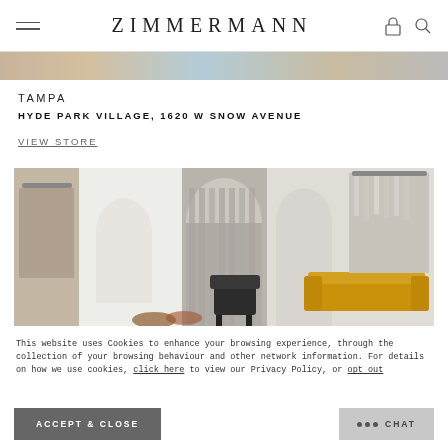ZIMMERMANN
[Figure (photo): Cropped top edge of a store or fashion photo strip]
TAMPA
HYDE PARK VILLAGE, 1620 W SNOW AVENUE
VIEW STORE
[Figure (photo): Interior of Zimmermann store showing white arched walls, a mustard yellow sofa, dark accent chair, clothing racks with garments, and wall-mounted circular lights]
This website uses Cookies to enhance your browsing experience, through the collection of your browsing behaviour and other network information. For details on how we use cookies, click here to view our Privacy Policy, or opt out
ACCEPT & CLOSE
••• CHAT